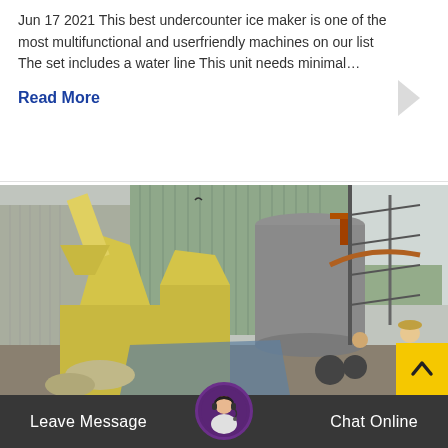Jun 17 2021 This best undercounter ice maker is one of the most multifunctional and userfriendly machines on our list The set includes a water line This unit needs minimal…
Read More
[Figure (photo): Industrial machinery at an outdoor facility, showing yellow grinding/milling equipment, a large cylindrical gray structure, metal scaffolding, piping, and workers in the background]
Leave Message
[Figure (photo): Customer service avatar: woman with headset, circular photo with purple border]
Chat Online